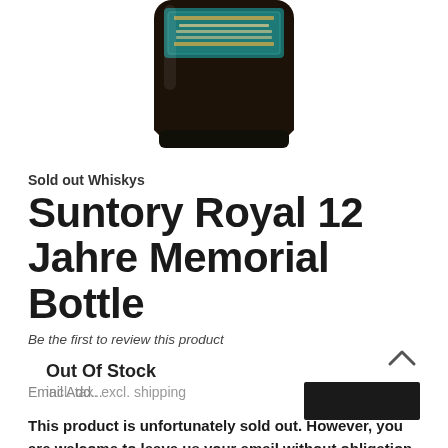[Figure (photo): Bottom portion of a dark whisky bottle with a teal/green label, black cap, photographed on white background]
Sold out Whiskys
Suntory Royal 12 Jahre Memorial Bottle
Be the first to review this product
Out Of Stock
incl. tax. excl. shipping
This product is unfortunately sold out. However, you are welcome to leave us your email without obligation. We will notify you as soon as it is available. We only use you for this notification. You will not receive any advertisi Cancellation possible at any time.
Email Add...